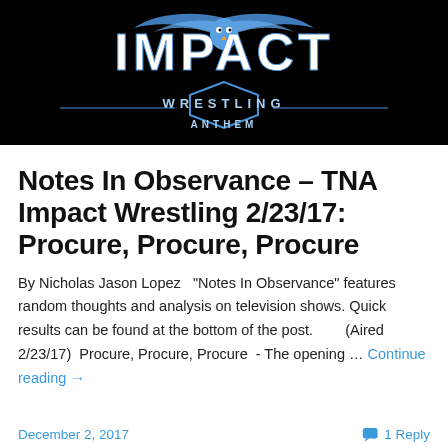[Figure (logo): Impact Wrestling Anthem logo — white stylized text 'IMPACT' with blue bird/wings graphic above, 'WRESTLING' below, 'ANTHEM' at bottom, all on black background]
Notes In Observance – TNA Impact Wrestling 2/23/17: Procure, Procure, Procure
By Nicholas Jason Lopez   "Notes In Observance" features random thoughts and analysis on television shows. Quick results can be found at the bottom of the post.          (Aired 2/23/17)  Procure, Procure, Procure  - The opening … Continue reading →
December 2, 2017   1 Reply